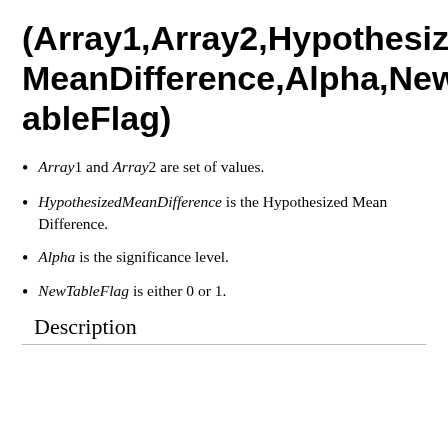(Array1,Array2,HypothesizedMeanDifference,Alpha,NewTableFlag)
Array1 and Array2 are set of values.
HypothesizedMeanDifference is the Hypothesized Mean Difference.
Alpha is the significance level.
NewTableFlag is either 0 or 1.
Description